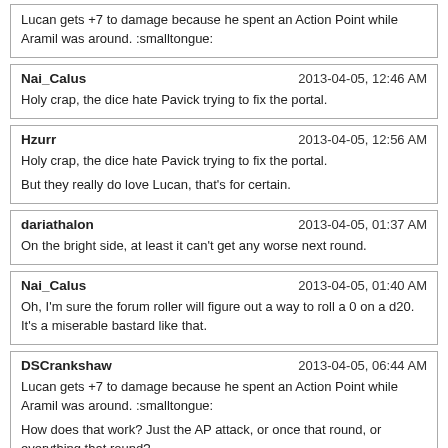Lucan gets +7 to damage because he spent an Action Point while Aramil was around. :smalltongue:
Nai_Calus	2013-04-05, 12:46 AM
Holy crap, the dice hate Pavick trying to fix the portal.
Hzurr	2013-04-05, 12:56 AM
Holy crap, the dice hate Pavick trying to fix the portal.

But they really do love Lucan, that's for certain.
dariathalon	2013-04-05, 01:37 AM
On the bright side, at least it can't get any worse next round.
Nai_Calus	2013-04-05, 01:40 AM
Oh, I'm sure the forum roller will figure out a way to roll a 0 on a d20. It's a miserable bastard like that.
DSCrankshaw	2013-04-05, 06:44 AM
Lucan gets +7 to damage because he spent an Action Point while Aramil was around. :smalltongue:

How does that work? Just the AP attack, or once that round, or everything that round?

Nevermind, looked it up: